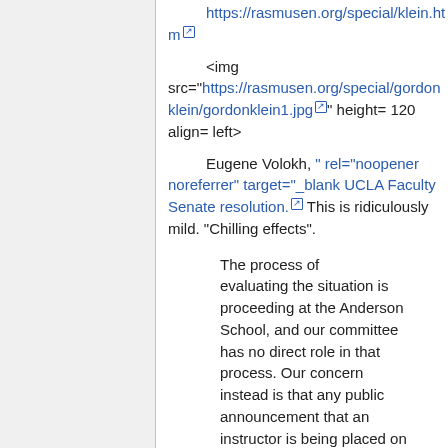https://rasmusen.org/special/klein.htm [external link]
<img src="https://rasmusen.org/special/gordonklein/gordonklein1.jpg" height= 120 align= left>
Eugene Volokh, " rel="noopener noreferrer" target="_blank UCLA Faculty Senate resolution. This is ridiculously mild. "Chilling effects".
The process of evaluating the situation is proceeding at the Anderson School, and our committee has no direct role in that process. Our concern instead is that any public announcement that an instructor is being placed on